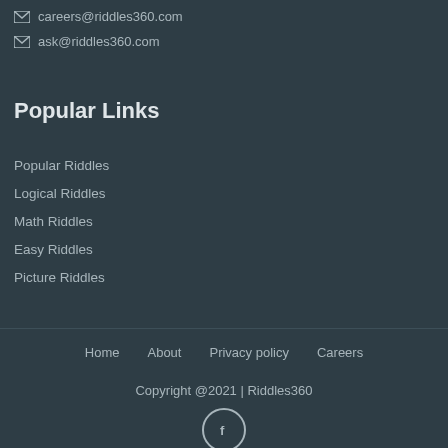careers@riddles360.com
ask@riddles360.com
Popular Links
Popular Riddles
Logical Riddles
Math Riddles
Easy Riddles
Picture Riddles
Home   About   Privacy policy   Careers
Copyright @2021 | Riddles360